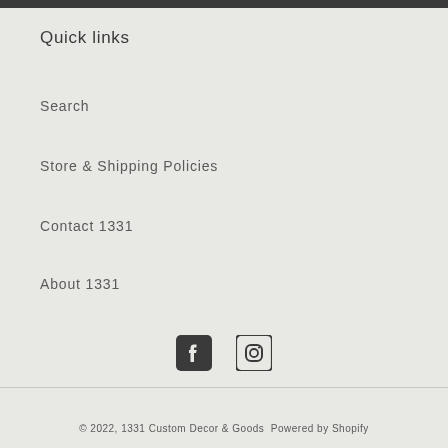Quick links
Search
Store & Shipping Policies
Contact 1331
About 1331
[Figure (illustration): Social media icons: Facebook and Instagram]
© 2022, 1331 Custom Decor & Goods  Powered by Shopify